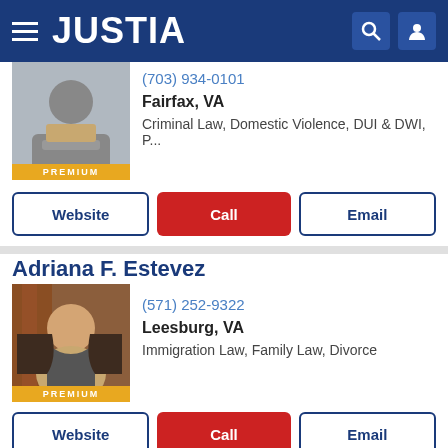JUSTIA
(703) 934-0101
Fairfax, VA
Criminal Law, Domestic Violence, DUI & DWI, P...
Website | Call | Email
Adriana F. Estevez
(571) 252-9322
Leesburg, VA
Immigration Law, Family Law, Divorce
Website | Call | Email
Merritt L...